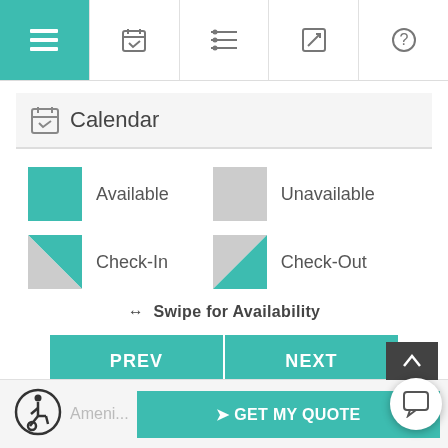[Figure (screenshot): Top navigation bar with 5 icon tabs: hamburger menu (active/teal), calendar, list, edit, help]
Calendar
Available
Unavailable
Check-In
Check-Out
↔  Swipe for Availability
PREV
NEXT
> GET MY QUOTE